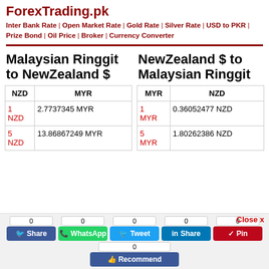ForexTrading.pk
Inter Bank Rate | Open Market Rate | Gold Rate | Silver Rate | USD to PKR | Prize Bond | Oil Price | Broker | Currency Converter
Malaysian Ringgit to NewZealand $
| NZD | MYR |
| --- | --- |
| 1 NZD | 2.7737345 MYR |
| 5 NZD | 13.86867249 MYR |
NewZealand $ to Malaysian Ringgit
| MYR | NZD |
| --- | --- |
| 1 MYR | 0.36052477 NZD |
| 5 MYR | 1.80262386 NZD |